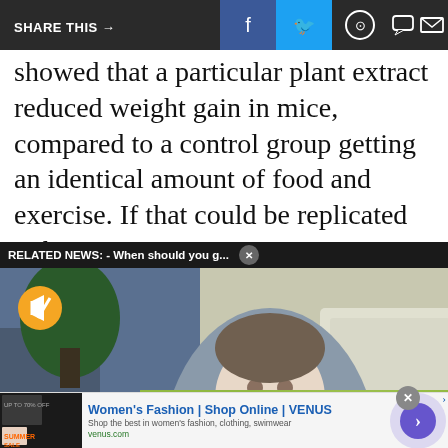[Figure (screenshot): Share bar with social media icons: SHARE THIS arrow, Facebook, Twitter, WhatsApp, chat bubble, email]
showed that a particular plant extract reduced weight gain in mice, compared to a control group getting an identical amount of food and exercise. If that could be replicated in humans, [obscured] to "about 15 to 20 [obscured] d in a year" for a
[Figure (screenshot): Related news overlay bar reading 'RELATED NEWS: - When should you g...' with close X button, overlaying a video player showing a man in a blue shirt in an office setting, with mute button and loading arc visible]
[Figure (screenshot): Advertisement overlay: WIN FREE Groceries promotion with red circle grocery cart icon on green bokeh background, with X close button]
[Figure (screenshot): Bottom advertisement bar: Women's Fashion | Shop Online | VENUS - Shop the best in women's fashion, clothing, swimwear - venus.com, with thumbnail showing SUMMER SALE, close X button, and purple arrow navigation button]